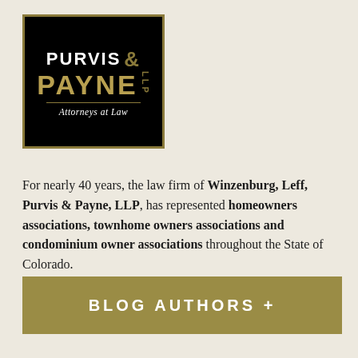[Figure (logo): Purvis & Payne LLP Attorneys at Law logo — black background with gold border, white and gold text]
For nearly 40 years, the law firm of Winzenburg, Leff, Purvis & Payne, LLP, has represented homeowners associations, townhome owners associations and condominium owner associations throughout the State of Colorado.
Read More....
BLOG AUTHORS +